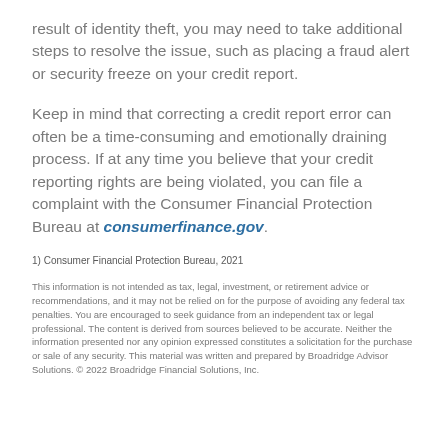result of identity theft, you may need to take additional steps to resolve the issue, such as placing a fraud alert or security freeze on your credit report.
Keep in mind that correcting a credit report error can often be a time-consuming and emotionally draining process. If at any time you believe that your credit reporting rights are being violated, you can file a complaint with the Consumer Financial Protection Bureau at consumerfinance.gov.
1) Consumer Financial Protection Bureau, 2021
This information is not intended as tax, legal, investment, or retirement advice or recommendations, and it may not be relied on for the purpose of avoiding any federal tax penalties. You are encouraged to seek guidance from an independent tax or legal professional. The content is derived from sources believed to be accurate. Neither the information presented nor any opinion expressed constitutes a solicitation for the purchase or sale of any security. This material was written and prepared by Broadridge Advisor Solutions. © 2022 Broadridge Financial Solutions, Inc.